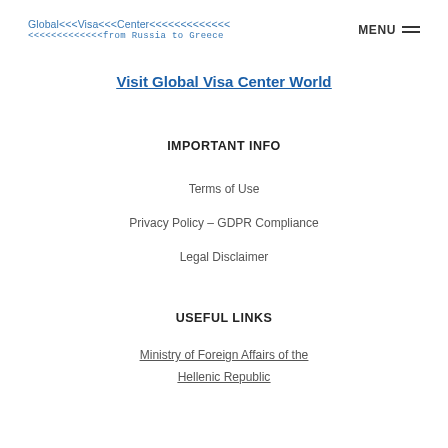Global Visa Center from Russia to Greece | MENU
Visit Global Visa Center World
IMPORTANT INFO
Terms of Use
Privacy Policy – GDPR Compliance
Legal Disclaimer
USEFUL LINKS
Ministry of Foreign Affairs of the Hellenic Republic